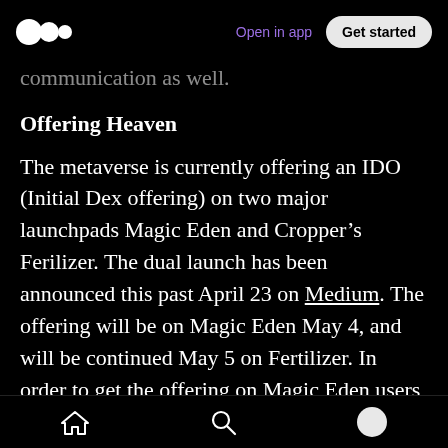Open in app | Get started
communication as well.
Offering Heaven
The metaverse is currently offering an IDO (Initial Dex offering) on two major launchpads Magic Eden and Cropper’s Ferilizer. The dual launch has been announced this past April 23 on Medium. The offering will be on Magic Eden May 4, and will be continued May 5 on Fertilizer. In order to get the offering on Magic Eden users will have to buy Loyalty NFTs first. A loyalty NFT is a multifunctional asset for the metaverse Loyalty NFTs are valuable assets that offer perks that
Home | Search | Profile